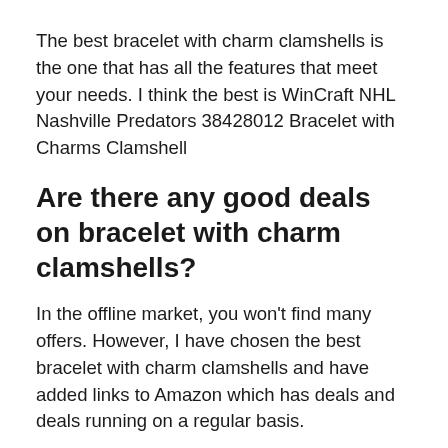The best bracelet with charm clamshells is the one that has all the features that meet your needs. I think the best is WinCraft NHL Nashville Predators 38428012 Bracelet with Charms Clamshell
Are there any good deals on bracelet with charm clamshells?
In the offline market, you won't find many offers. However, I have chosen the best bracelet with charm clamshells and have added links to Amazon which has deals and deals running on a regular basis.
What is the cheapest bracelet with charm clamshells?